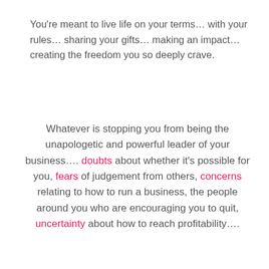You're meant to live life on your terms… with your rules… sharing your gifts… making an impact… creating the freedom you so deeply crave.
Whatever is stopping you from being the unapologetic and powerful leader of your business…. doubts about whether it's possible for you, fears of judgement from others, concerns relating to how to run a business, the people around you who are encouraging you to quit, uncertainty about how to reach profitability….